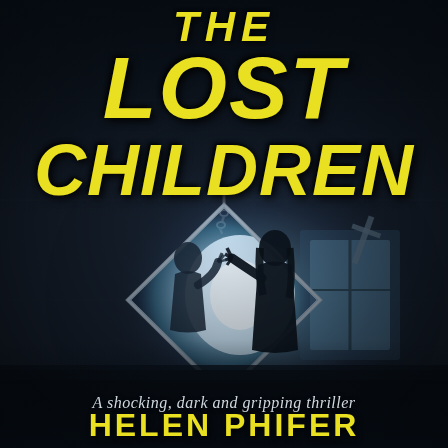[Figure (illustration): Book cover for 'The Lost Children' by Helen Phifer. Dark background showing an industrial/abandoned room with two child silhouettes facing each other through a diamond-shaped mirror hanging from a chain. Blue-tinted atmospheric lighting creates an eerie, thriller atmosphere.]
THE LOST CHILDREN
A shocking, dark and gripping thriller
HELEN PHIFER